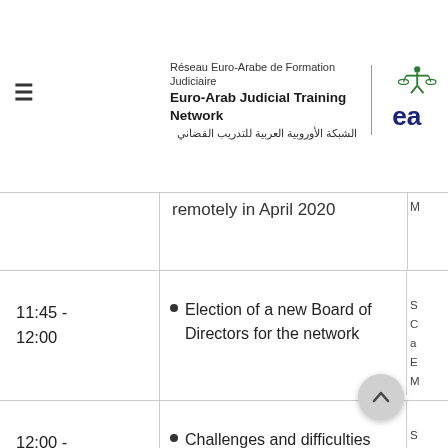Réseau Euro-Arabe de Formation Judiciaire | Euro-Arab Judicial Training Network | الشبكة الأوروبية العربية للتدريب القضاني
| Time | Agenda Item | Speaker |
| --- | --- | --- |
|  | remotely in April 2020 | M... |
| 11:45 - 12:00 | Election of a new Board of Directors for the network | S... C... a... E... M... |
| 12:00 - 12:15 | Challenges and difficulties | S... C... a... F... |